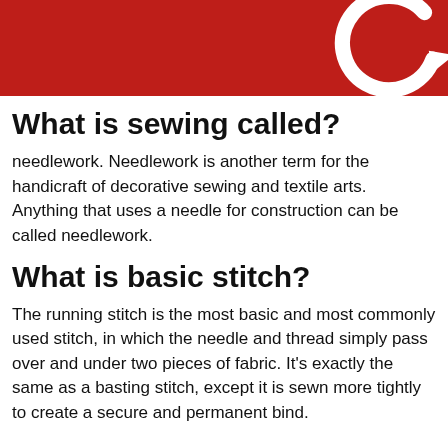[Figure (photo): Red felt fabric background with a white curved arrow icon in the upper right corner]
What is sewing called?
needlework. Needlework is another term for the handicraft of decorative sewing and textile arts. Anything that uses a needle for construction can be called needlework.
What is basic stitch?
The running stitch is the most basic and most commonly used stitch, in which the needle and thread simply pass over and under two pieces of fabric. It's exactly the same as a basting stitch, except it is sewn more tightly to create a secure and permanent bind.